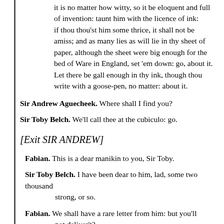it is no matter how witty, so it be eloquent and full of invention: taunt him with the licence of ink: if thou thou'st him some thrice, it shall not be amiss; and as many lies as will lie in thy sheet of paper, although the sheet were big enough for the bed of Ware in England, set 'em down: go, about it. Let there be gall enough in thy ink, though thou write with a goose-pen, no matter: about it.
Sir Andrew Aguecheek. Where shall I find you?
Sir Toby Belch. We'll call thee at the cubiculo: go.
[Exit SIR ANDREW]
Fabian. This is a dear manikin to you, Sir Toby.
Sir Toby Belch. I have been dear to him, lad, some two thousand strong, or so.
Fabian. We shall have a rare letter from him: but you'll not deliver't?
Sir Toby Belch. Never trust me, then; and by all means stir on the youth to an answer. I think oxen and wainropes cannot hale them together. For Andrew, if he were opened, and you find so much blood in his liver as